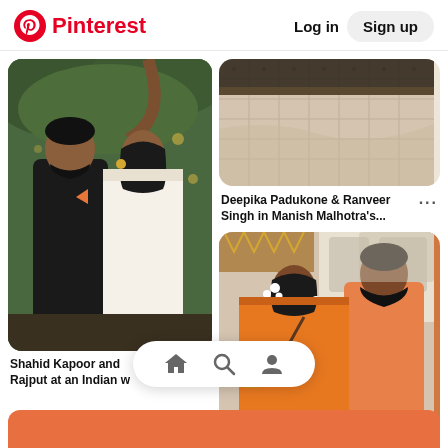Pinterest  Log in  Sign up
[Figure (photo): Shahid Kapoor and Mira Rajput at an Indian wedding, man in black kurta, woman in white embroidered outfit, outdoor greenery background]
Shahid Kapoor and Rajput at an Indian w
[Figure (photo): Close-up of ornate embroidered fabric, Deepika Padukone & Ranveer Singh in Manish Malhotra's...]
Deepika Padukone & Ranveer Singh in Manish Malhotra's... ···
[Figure (photo): Couple at a wedding event, woman in orange saree with flowers in hair, man in peach/salmon kurta, romantic look]
[Figure (screenshot): Bottom navigation bar with home, search, and profile icons on white pill-shaped background]
[Figure (photo): Bottom orange strip partially visible]